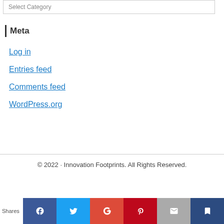Select Category
Meta
Log in
Entries feed
Comments feed
WordPress.org
© 2022 · Innovation Footprints. All Rights Reserved.
[Figure (other): Social sharing bar with Facebook, Twitter, Google+, Pinterest, Email, and Bookmark buttons. Label 'Shares' on the left.]